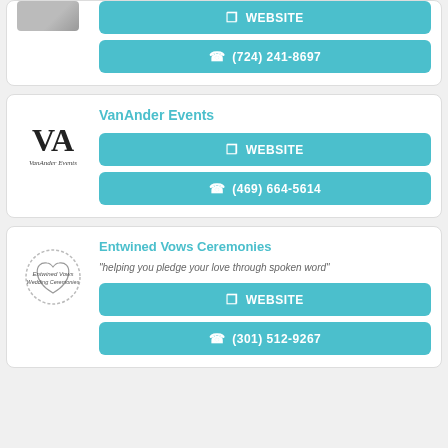[Figure (other): Partial business listing card showing WEBSITE button and phone number (724) 241-8697]
[Figure (logo): VanAnder Events logo - stylized VA monogram]
VanAnder Events
WEBSITE
(469) 664-5614
[Figure (logo): Entwined Vows Ceremonies logo - heart with wreath]
Entwined Vows Ceremonies
"helping you pledge your love through spoken word"
WEBSITE
(301) 512-9267